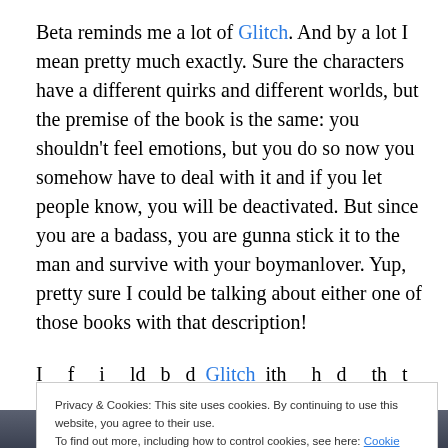Beta reminds me a lot of Glitch. And by a lot I mean pretty much exactly. Sure the characters have a different quirks and different worlds, but the premise of the book is the same: you shouldn't feel emotions, but you do so now you somehow have to deal with it and if you let people know, you will be deactivated. But since you are a badass, you are gunna stick it to the man and survive with your boymanlover. Yup, pretty sure I could be talking about either one of those books with that description!
I and of f i ld b d Glitch ith h d th t b ld
Privacy & Cookies: This site uses cookies. By continuing to use this website, you agree to their use.
To find out more, including how to control cookies, see here: Cookie Policy